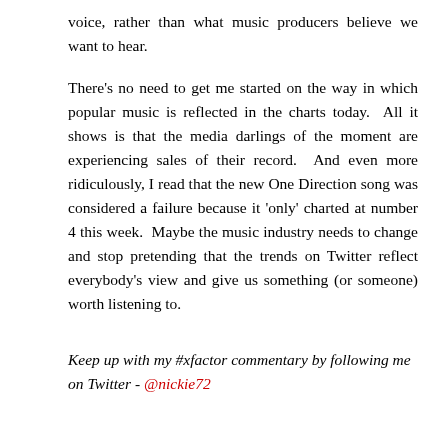voice, rather than what music producers believe we want to hear.
There's no need to get me started on the way in which popular music is reflected in the charts today. All it shows is that the media darlings of the moment are experiencing sales of their record. And even more ridiculously, I read that the new One Direction song was considered a failure because it 'only' charted at number 4 this week. Maybe the music industry needs to change and stop pretending that the trends on Twitter reflect everybody's view and give us something (or someone) worth listening to.
Keep up with my #xfactor commentary by following me on Twitter - @nickie72